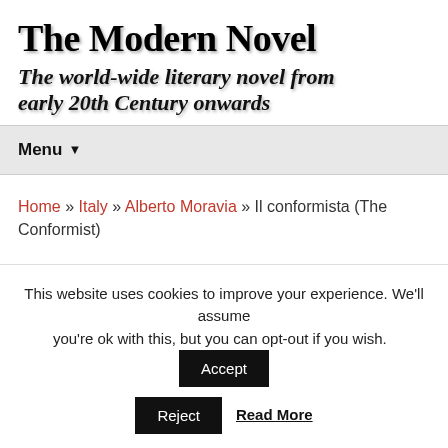The Modern Novel
The world-wide literary novel from early 20th Century onwards
Menu
Home » Italy » Alberto Moravia » Il conformista (The Conformist)
Alberto Moravia: Il conformista (The Conformist)
This website uses cookies to improve your experience. We'll assume you're ok with this, but you can opt-out if you wish.
Accept
Reject
Read More